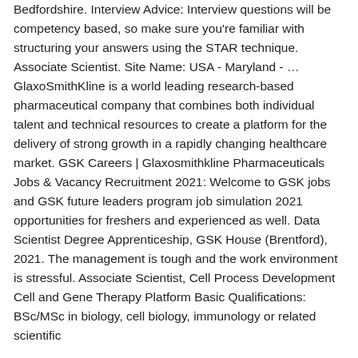Bedfordshire. Interview Advice: Interview questions will be competency based, so make sure you're familiar with structuring your answers using the STAR technique. Associate Scientist. Site Name: USA - Maryland - … GlaxoSmithKline is a world leading research-based pharmaceutical company that combines both individual talent and technical resources to create a platform for the delivery of strong growth in a rapidly changing healthcare market. GSK Careers | Glaxosmithkline Pharmaceuticals Jobs & Vacancy Recruitment 2021: Welcome to GSK jobs and GSK future leaders program job simulation 2021 opportunities for freshers and experienced as well. Data Scientist Degree Apprenticeship, GSK House (Brentford), 2021. The management is tough and the work environment is stressful. Associate Scientist, Cell Process Development Cell and Gene Therapy Platform Basic Qualifications: BSc/MSc in biology, cell biology, immunology or related scientific